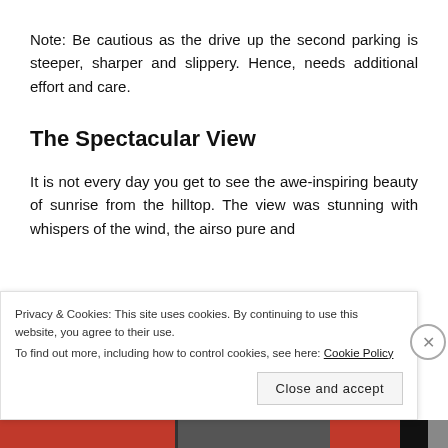Note: Be cautious as the drive up the second parking is steeper, sharper and slippery. Hence, needs additional effort and care.
The Spectacular View
It is not every day you get to see the awe-inspiring beauty of sunrise from the hilltop. The view was stunning with whispers of the wind, the airso pure and
Privacy & Cookies: This site uses cookies. By continuing to use this website, you agree to their use.
To find out more, including how to control cookies, see here: Cookie Policy
Close and accept